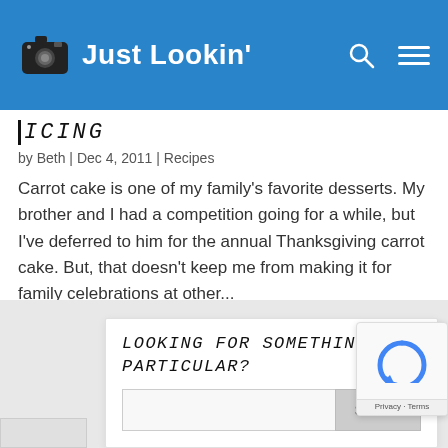Just Lookin'
ICING
by Beth | Dec 4, 2011 | Recipes
Carrot cake is one of my family's favorite desserts. My brother and I had a competition going for a while, but I've deferred to him for the annual Thanksgiving carrot cake. But, that doesn't keep me from making it for family celebrations at other...
LOOKING FOR SOMETHING IN PARTICULAR?
Search